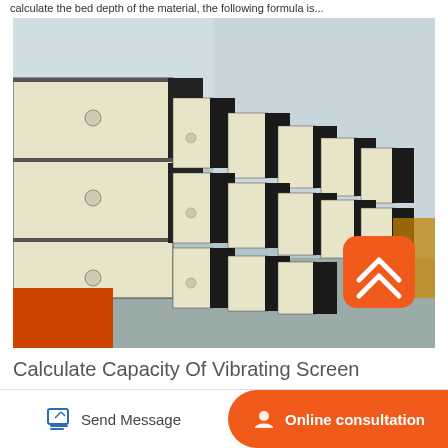calculate the bed depth of the material, the following formula is...
[Figure (photo): Industrial vibrating screen units stacked in a factory/warehouse setting. Multiple large rectangular screen units with cream/white and black panels are arranged in a staircase pattern on the factory floor. An orange scroll-to-top button UI element is overlaid on the bottom-right of the image.]
Calculate Capacity Of Vibrating Screen
Send Message
Online consultation